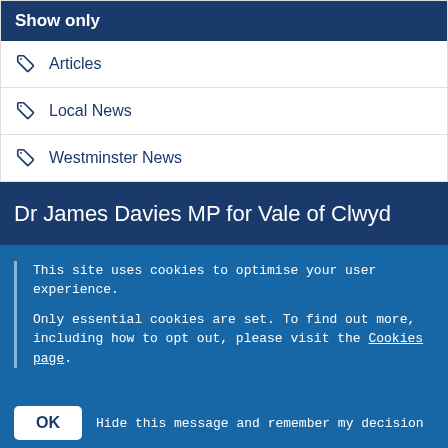Show only
Articles
Local News
Westminster News
Dr James Davies MP for Vale of Clwyd
This site uses cookies to optimise your user experience.
Only essential cookies are set. To find out more, including how to opt out, please visit the Cookies page.
OK   Hide this message and remember my decision